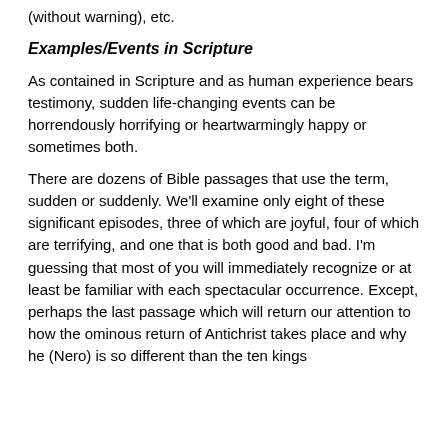(without warning), etc.
Examples/Events in Scripture
As contained in Scripture and as human experience bears testimony, sudden life-changing events can be horrendously horrifying or heartwarmingly happy or sometimes both.
There are dozens of Bible passages that use the term, sudden or suddenly. We'll examine only eight of these significant episodes, three of which are joyful, four of which are terrifying, and one that is both good and bad. I'm guessing that most of you will immediately recognize or at least be familiar with each spectacular occurrence. Except, perhaps the last passage which will return our attention to how the ominous return of Antichrist takes place and why he (Nero) is so different than the ten kings